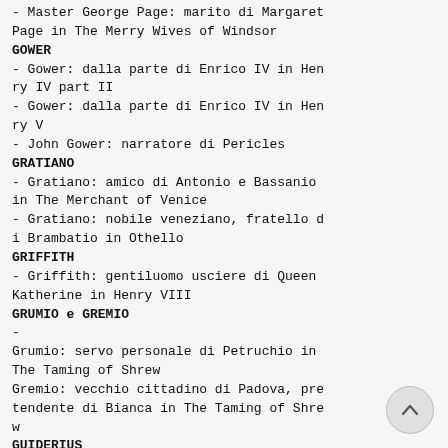- Master George Page: marito di Margaret Page in The Merry Wives of Windsor
GOWER
- Gower: dalla parte di Enrico IV in Henry IV part II
- Gower: dalla parte di Enrico IV in Henry V
- John Gower: narratore di Pericles
GRATIANO
- Gratiano: amico di Antonio e Bassanio in The Merchant of Venice
- Gratiano: nobile veneziano, fratello di Brambatio in Othello
GRIFFITH
- Griffith: gentiluomo usciere di Queen Katherine in Henry VIII
GRUMIO e GREMIO
- Grumio: servo personale di Petruchio in The Taming of Shrew
Gremio: vecchio cittadino di Padova, pretendente di Bianca in The Taming of Shrew
GUIDERIUS
- Polydore Guiderius: figlio di Cymbelin